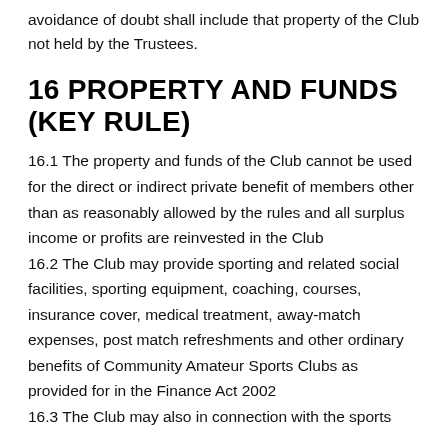avoidance of doubt shall include that property of the Club not held by the Trustees.
16 PROPERTY AND FUNDS (KEY RULE)
16.1 The property and funds of the Club cannot be used for the direct or indirect private benefit of members other than as reasonably allowed by the rules and all surplus income or profits are reinvested in the Club
16.2 The Club may provide sporting and related social facilities, sporting equipment, coaching, courses, insurance cover, medical treatment, away-match expenses, post match refreshments and other ordinary benefits of Community Amateur Sports Clubs as provided for in the Finance Act 2002
16.3 The Club may also in connection with the sports